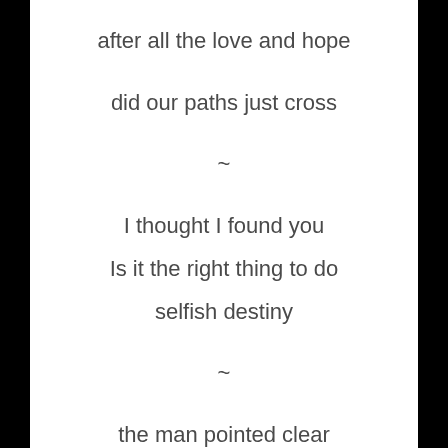after all the love and hope
did our paths just cross
~
I thought I found you
Is it the right thing to do
selfish destiny
~
the man pointed clear